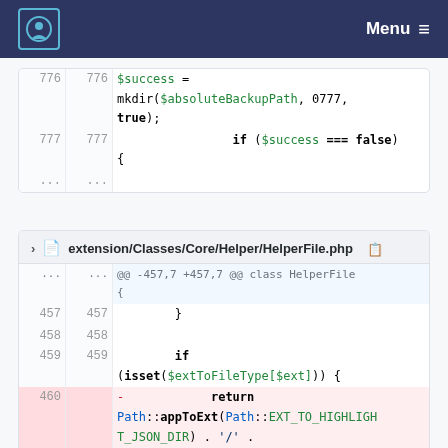Menu
776  776  $success = mkdir($absoluteBackupPath, 0777, true);
777  777  if ($success === false) {
extension/Classes/Core/Helper/HelperFile.php
@@ -457,7 +457,7 @@ class HelperFile
{
457  457  }
458  458
459  459  if (isset($extToFileType[$ext])) {
460  -  return Path::appToExt(Path::EXT_TO_HIGHLIGHT_JSON_DIR) . '/' . $extToFileType[$ext];